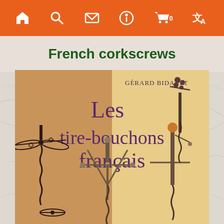Navigation bar with home, search, mail, info, cart (0), translate icons
French corkscrews
[Figure (photo): Book cover of 'Les tire-bouchons français' by Gérard Bidault, showing several antique French corkscrews on a two-tone (tan/cream) background. The corkscrews include butterfly, rack-and-pinion, and figural types.]